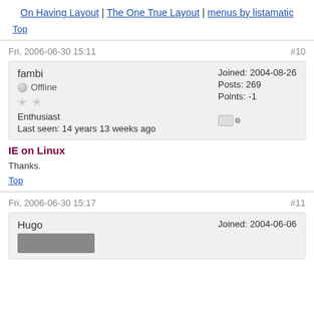On Having Layout | The One True Layout | menus by listamatic
Top
Fri, 2006-06-30 15:11
#10
| fambi | Joined: 2004-08-26 |
| Offline | Posts: 269 |
|  | Points: -1 |
| Enthusiast |  |
| Last seen: 14 years 13 weeks ago |  |
IE on Linux
Thanks.
Top
Fri, 2006-06-30 15:17
#11
| Hugo | Joined: 2004-06-06 |